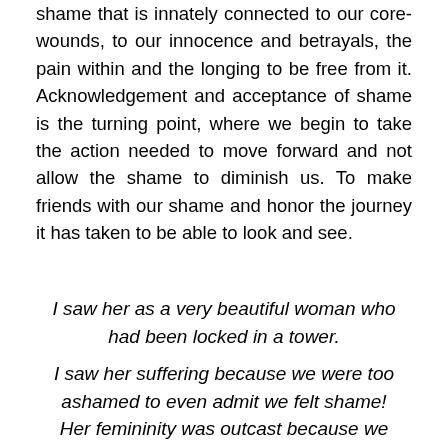shame that is innately connected to our core-wounds, to our innocence and betrayals, the pain within and the longing to be free from it. Acknowledgement and acceptance of shame is the turning point, where we begin to take the action needed to move forward and not allow the shame to diminish us. To make friends with our shame and honor the journey it has taken to be able to look and see.
I saw her as a very beautiful woman who had been locked in a tower.
I saw her suffering because we were too ashamed to even admit we felt shame!
Her femininity was outcast because we could not bare to